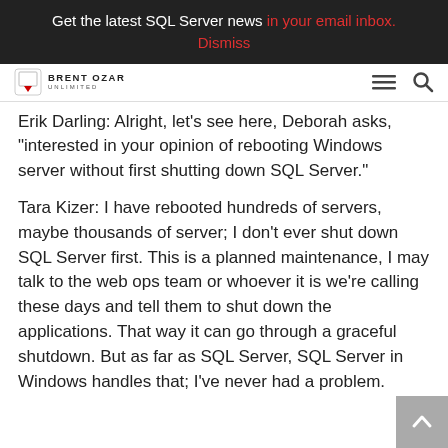Get the latest SQL Server news in your email inbox. Dismiss
[Figure (logo): Brent Ozar Unlimited logo with navigation hamburger menu and search icon]
Erik Darling: Alright, let's see here, Deborah asks, "interested in your opinion of rebooting Windows server without first shutting down SQL Server."
Tara Kizer: I have rebooted hundreds of servers, maybe thousands of server; I don't ever shut down SQL Server first. This is a planned maintenance, I may talk to the web ops team or whoever it is we're calling these days and tell them to shut down the applications. That way it can go through a graceful shutdown. But as far as SQL Server, SQL Server in Windows handles that; I've never had a problem.